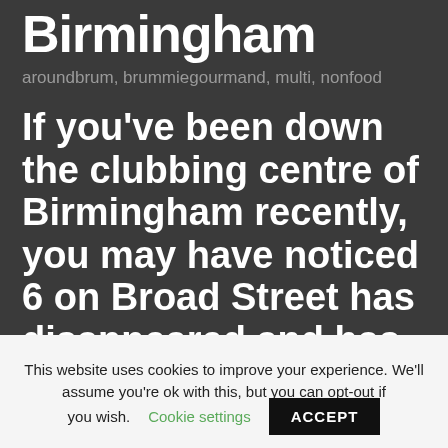Birmingham
aroundbrum, brummiegourmand, multi, nonfood
If you've been down the clubbing centre of Birmingham recently, you may have noticed 6 on Broad Street has disappeared and has instead been replaced by
This website uses cookies to improve your experience. We'll assume you're ok with this, but you can opt-out if you wish.
Cookie settings
ACCEPT